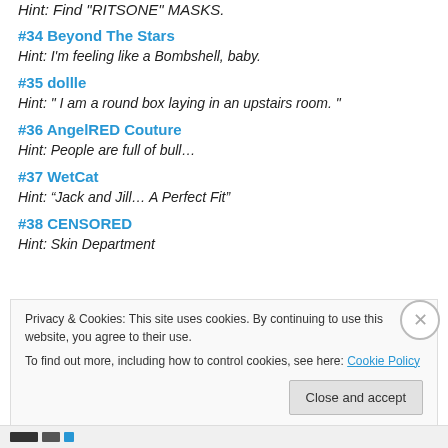Hint: Find "RITSONE" MASKS.
#34 Beyond The Stars
Hint: I'm feeling like a Bombshell, baby.
#35 dollle
Hint: " I am a round box laying in an upstairs room. "
#36 AngelRED Couture
Hint: People are full of bull…
#37 WetCat
Hint: “Jack and Jill… A Perfect Fit”
#38 CENSORED
Hint: Skin Department
Privacy & Cookies: This site uses cookies. By continuing to use this website, you agree to their use.
To find out more, including how to control cookies, see here: Cookie Policy
Close and accept